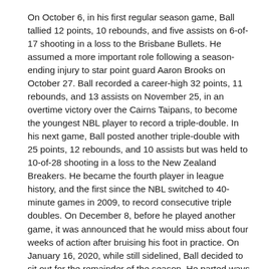On October 6, in his first regular season game, Ball tallied 12 points, 10 rebounds, and five assists on 6-of-17 shooting in a loss to the Brisbane Bullets. He assumed a more important role following a season-ending injury to star point guard Aaron Brooks on October 27. Ball recorded a career-high 32 points, 11 rebounds, and 13 assists on November 25, in an overtime victory over the Cairns Taipans, to become the youngest NBL player to record a triple-double. In his next game, Ball posted another triple-double with 25 points, 12 rebounds, and 10 assists but was held to 10-of-28 shooting in a loss to the New Zealand Breakers. He became the fourth player in league history, and the first since the NBL switched to 40-minute games in 2009, to record consecutive triple doubles. On December 8, before he played another game, it was announced that he would miss about four weeks of action after bruising his foot in practice. On January 16, 2020, while still sidelined, Ball decided to sit out for the remainder of the season. He parted ways with the Hawks on January 28 to return to the United States and prepare for the 2020 NBA draft. Through 12 NBL games, Ball averaged 17 points, 7.4 rebounds and 6.8 assists per game, shooting 37.7 percent from the field. At the end of the season, he was named NBL Rookie of the Year and Most Valuable (Most...)